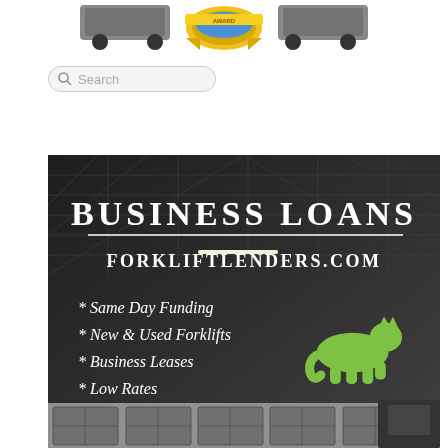[Figure (logo): Partial view of website header with logos/badges and decorative ribbon/award badge at top]
[Figure (other): Search bar UI element with magnifying glass icon and placeholder text 'Search']
[Figure (infographic): Business Loans advertisement banner for ForkliftLenders.com on dark warehouse background with green cat logo. Lists: Same Day Funding, New & Used Forklifts, Business Leases, Low Rates, Flexible Terms]
BUSINESS LOANS
FORKLIFTLENDERS.COM
* Same Day Funding
* New & Used Forklifts
* Business Leases
* Low Rates
* Flexible Terms